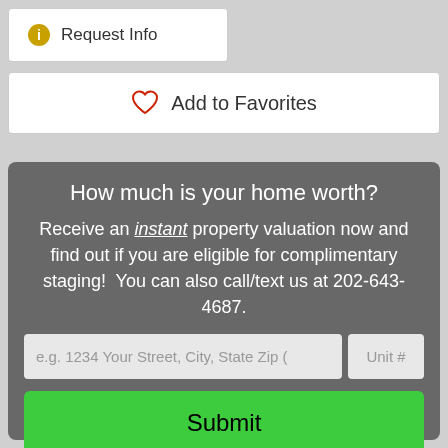Request Info
Add to Favorites
How much is your home worth?
Receive an instant property valuation now and find out if you are eligible for complimentary staging!  You can also call/text us at 202-643-4687.
e.g. 1234 Your Street, City, State Zip (
Unit #
Submit